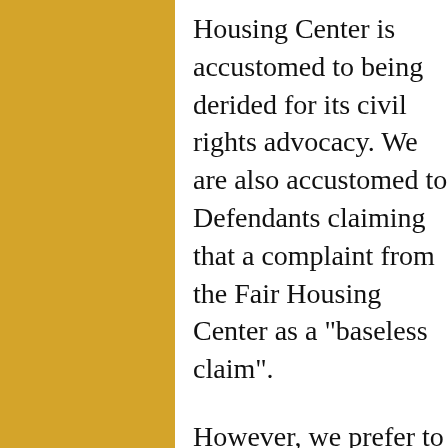Housing Center is accustomed to being derided for its civil rights advocacy. We are also accustomed to Defendants claiming that a complaint from the Fair Housing Center as a "baseless claim".
However, we prefer to allow our year track record of bringing and resolving complaints—whether small like the Carillon House Association matter or a larger matter like the lawsuit that MVFHC was part of against Wells Fargo Bank that in resulted in more than $1.4 million dollars in justice on behalf of...